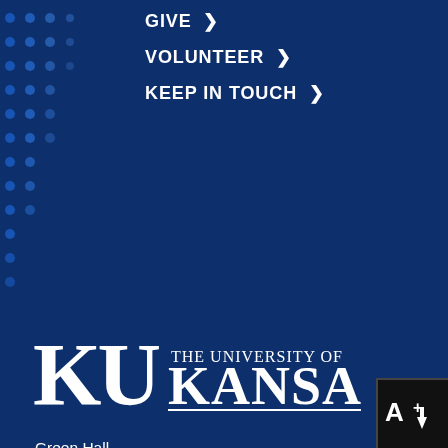GIVE ›
VOLUNTEER ›
KEEP IN TOUCH ›
[Figure (logo): KU – The University of Kansas logo in white on dark blue background]
Green Hall
1535 W. 15th Street
Lawrence, KS 66045
Bus Routes: 10, 11, 30, 41, 43
admitlaw@ku.edu
785-864-4550
[Figure (logo): A+ with download arrow badge in black box, bottom right corner]